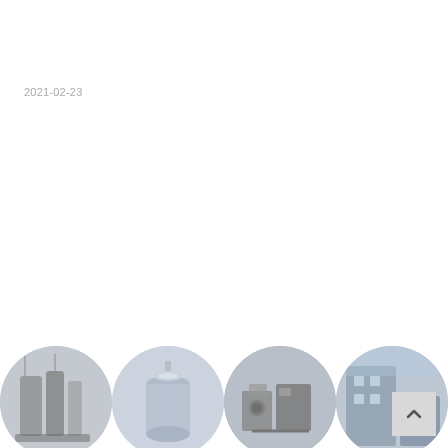2021-02-23
[Figure (photo): Four circular thumbnail photos of industrial/engineering equipment including tanks, pipes, machinery, and structures, arranged in a horizontal strip at the bottom of the page.]